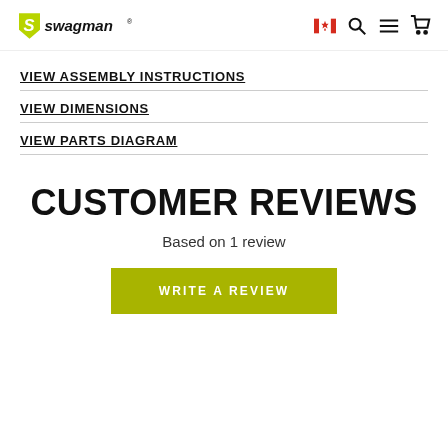Swagman logo with Canadian flag, search, menu, and cart icons
VIEW ASSEMBLY INSTRUCTIONS
VIEW DIMENSIONS
VIEW PARTS DIAGRAM
CUSTOMER REVIEWS
Based on 1 review
WRITE A REVIEW